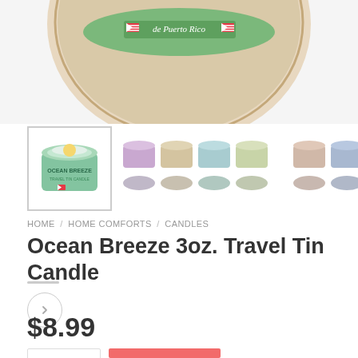[Figure (photo): Top portion of a round tin candle product with Puerto Rico label visible, cropped at top of page]
[Figure (photo): Product thumbnail images: selected Ocean Breeze travel tin candle (green label), plus two groups of smaller candle thumbnails]
HOME / HOME COMFORTS / CANDLES
Ocean Breeze 3oz. Travel Tin Candle
$8.99